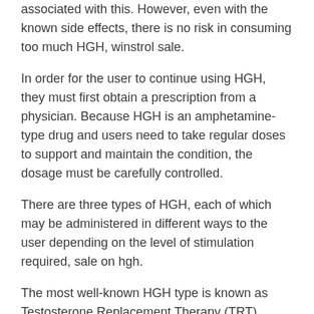associated with this. However, even with the known side effects, there is no risk in consuming too much HGH, winstrol sale.
In order for the user to continue using HGH, they must first obtain a prescription from a physician. Because HGH is an amphetamine-type drug and users need to take regular doses to support and maintain the condition, the dosage must be carefully controlled.
There are three types of HGH, each of which may be administered in different ways to the user depending on the level of stimulation required, sale on hgh.
The most well-known HGH type is known as Testosterone Replacement Therapy (TRT), somatropin 50 iu. Testosterone replacement therapy is usually prescribed for patients who have had a testosterone deficiency for